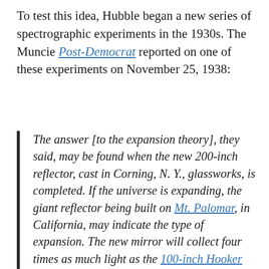To test this idea, Hubble began a new series of spectrographic experiments in the 1930s. The Muncie Post-Democrat reported on one of these experiments on November 25, 1938:
The answer [to the expansion theory], they said, may be found when the new 200-inch reflector, cast in Corning, N. Y., glassworks, is completed. If the universe is expanding, the giant reflector being built on Mt. Palomar, in California, may indicate the type of expansion. The new mirror will collect four times as much light as the 100-inch Hooker reflector now in use at Mt. Wilson.